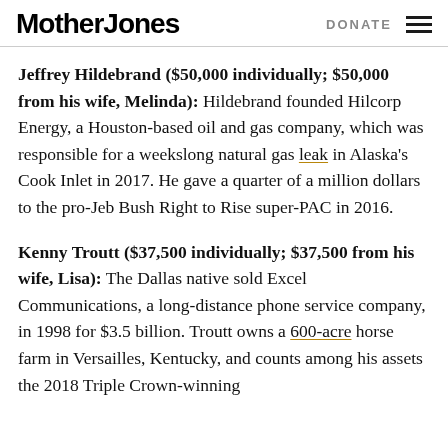Mother Jones  DONATE
Jeffrey Hildebrand ($50,000 individually; $50,000 from his wife, Melinda): Hildebrand founded Hilcorp Energy, a Houston-based oil and gas company, which was responsible for a weekslong natural gas leak in Alaska's Cook Inlet in 2017. He gave a quarter of a million dollars to the pro-Jeb Bush Right to Rise super-PAC in 2016.
Kenny Troutt ($37,500 individually; $37,500 from his wife, Lisa): The Dallas native sold Excel Communications, a long-distance phone service company, in 1998 for $3.5 billion. Troutt owns a 600-acre horse farm in Versailles, Kentucky, and counts among his assets the 2018 Triple Crown-winning